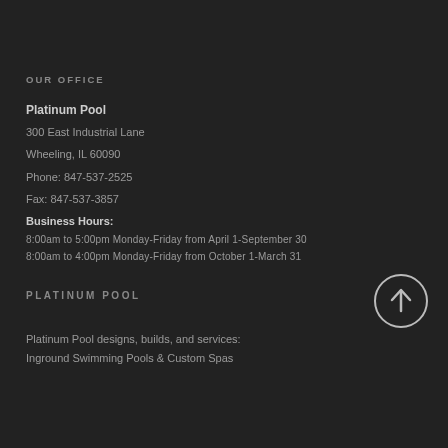OUR OFFICE
Platinum Pool
300 East Industrial Lane
Wheeling, IL 60090
Phone: 847-537-2525
Fax: 847-537-3857
Business Hours:
8:00am to 5:00pm Monday-Friday from April 1-September 30
8:00am to 4:00pm Monday-Friday from October 1-March 31
PLATINUM POOL
[Figure (illustration): Circle with upward arrow icon (back to top button)]
Platinum Pool designs, builds, and services:
Inground Swimming Pools & Custom Spas